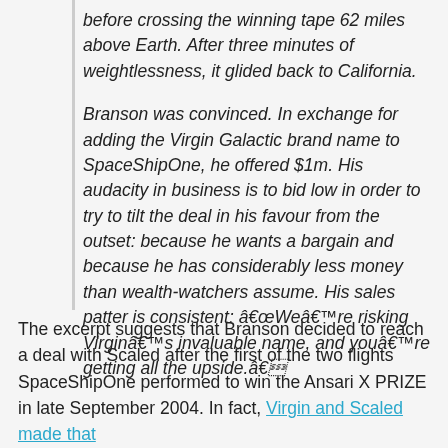before crossing the winning tape 62 miles above Earth. After three minutes of weightlessness, it glided back to California.

Branson was convinced. In exchange for adding the Virgin Galactic brand name to SpaceShipOne, he offered $1m. His audacity in business is to bid low in order to try to tilt the deal in his favour from the outset: because he wants a bargain and because he has considerably less money than wealth-watchers assume. His sales patter is consistent: â€œWeâ€™re risking Virginâ€™s invaluable name, and youâ€™re getting all the upside.â€
The excerpt suggests that Branson decided to reach a deal with Scaled after the first of the two flights SpaceShipOne performed to win the Ansari X PRIZE in late September 2004. In fact, Virgin and Scaled made that